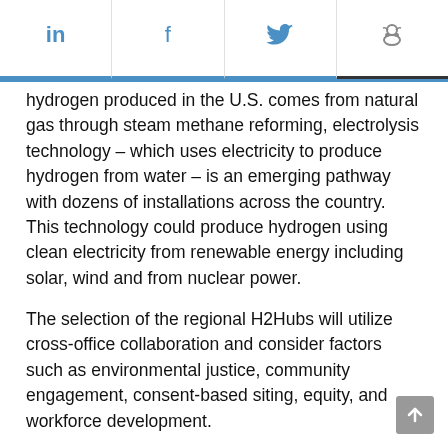in | f | [twitter bird] | [reddit]
hydrogen produced in the U.S. comes from natural gas through steam methane reforming, electrolysis technology – which uses electricity to produce hydrogen from water – is an emerging pathway with dozens of installations across the country. This technology could produce hydrogen using clean electricity from renewable energy including solar, wind and from nuclear power.
The selection of the regional H2Hubs will utilize cross-office collaboration and consider factors such as environmental justice, community engagement, consent-based siting, equity, and workforce development.